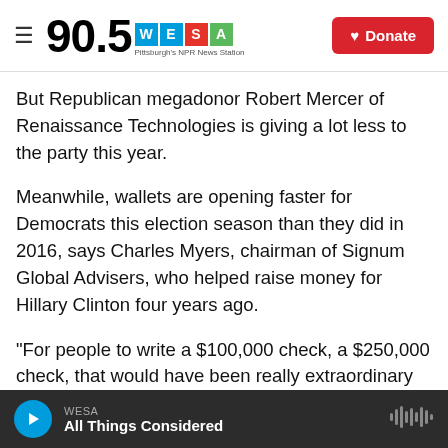90.5 WESA Pittsburgh's NPR News Station
But Republican megadonor Robert Mercer of Renaissance Technologies is giving a lot less to the party this year.
Meanwhile, wallets are opening faster for Democrats this election season than they did in 2016, says Charles Myers, chairman of Signum Global Advisers, who helped raise money for Hillary Clinton four years ago.
"For people to write a $100,000 check, a $250,000 check, that would have been really extraordinary four years ago," Myers says. "Today we're seeing a
WESA All Things Considered